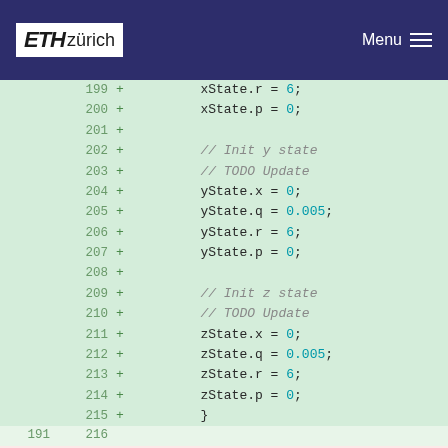ETH zürich  Menu
Code diff showing lines 199-217 with additions and one removal. Lines show xState, yState, zState initializations and a removed return;*/ line.